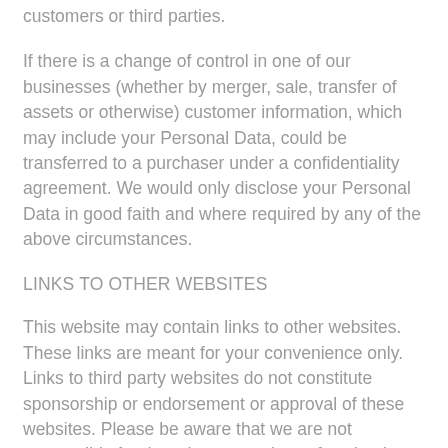customers or third parties.
If there is a change of control in one of our businesses (whether by merger, sale, transfer of assets or otherwise) customer information, which may include your Personal Data, could be transferred to a purchaser under a confidentiality agreement. We would only disclose your Personal Data in good faith and where required by any of the above circumstances.
LINKS TO OTHER WEBSITES
This website may contain links to other websites. These links are meant for your convenience only. Links to third party websites do not constitute sponsorship or endorsement or approval of these websites. Please be aware that we are not responsible for the privacy practices of such other websites. We encourage our users to be aware, when they leave our website, to read the privacy statements of each and every website that collects